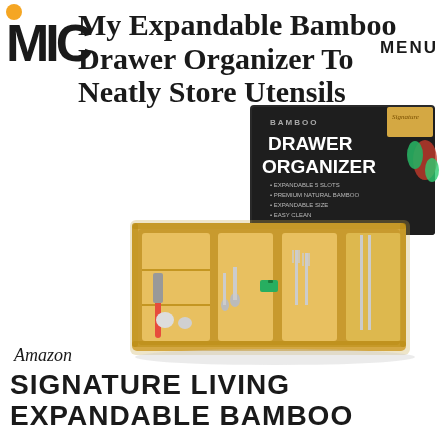MIC | MENU
My Expandable Bamboo Drawer Organizer To Neatly Store Utensils
[Figure (photo): Product photo of a Bamboo Drawer Organizer with cutlery (forks, spoons, knives) arranged in the expandable wooden tray compartments, alongside the product packaging box showing 'BAMBOO DRAWER ORGANIZER' branding.]
Amazon
SIGNATURE LIVING EXPANDABLE BAMBOO